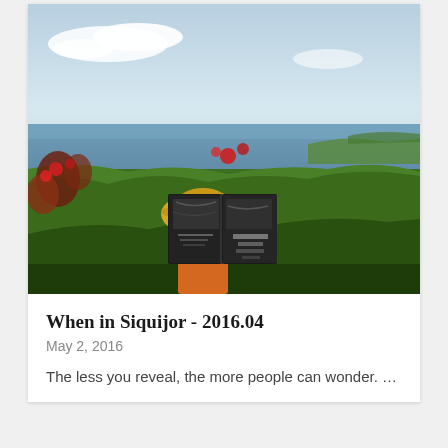[Figure (photo): Person holding two books open in front of their face, wearing a yellow hat and orange clothing, standing outdoors on a hillside with tropical vegetation, ocean and coastline visible in the background under a partly cloudy sky.]
When in Siquijor - 2016.04
May 2, 2016
The less you reveal, the more people can wonder. …